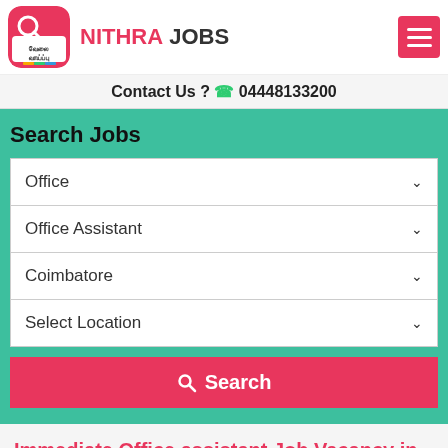NITHRA JOBS
Contact Us ? 04448133200
Search Jobs
Office
Office Assistant
Coimbatore
Select Location
Search
Immediate Office assistant Job Vacancy in Coimbatore